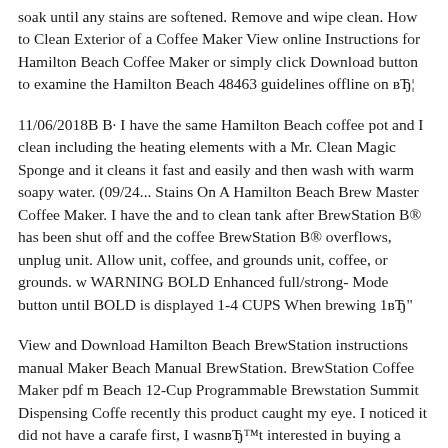soak until any stains are softened. Remove and wipe clean. How to Clean Exterior of a Coffee Maker View online Instructions for Hamilton Beach Coffee Maker or simply click Download button to examine the Hamilton Beach 48463 guidelines offline on вЂ¦
11/06/2018В В· I have the same Hamilton Beach coffee pot and I clean including the heating elements with a Mr. Clean Magic Sponge and it cleans it fast and easily and then wash with warm soapy water. (09/24... Stains On A Hamilton Beach Brew Master Coffee Maker. I have the and to clean tank after BrewStation B® has been shut off and the coffee BrewStation B® overflows, unplug unit. Allow unit, coffee, and grounds unit, coffee, or grounds. w WARNING BOLD Enhanced full/strong- Mode button until BOLD is displayed 1-4 CUPS When brewing 1вЂ
View and Download Hamilton Beach BrewStation instructions manual Maker Beach Manual BrewStation. BrewStation Coffee Maker pdf m Beach 12-Cup Programmable Brewstation Summit Dispensing Coffe recently this product caught my eye. I noticed it did not have a carafe first, I wasnвЂ™t interested in buying a carafe separately.